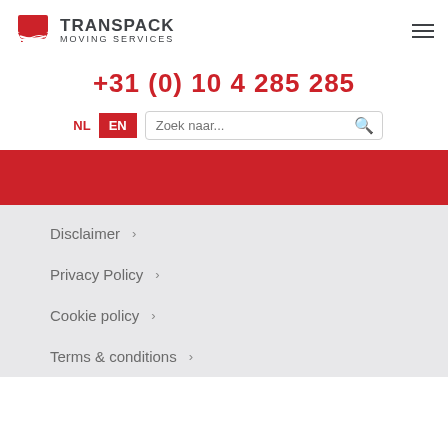[Figure (logo): Transpack Moving Services logo with red truck/container icon and dark grey brand name text]
+31 (0) 10 4 285 285
NL EN
Zoek naar...
[Figure (other): Red banner/band divider]
Disclaimer
Privacy Policy
Cookie policy
Terms & conditions